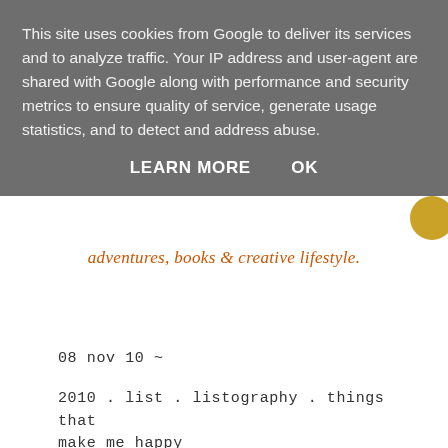This site uses cookies from Google to deliver its services and to analyze traffic. Your IP address and user-agent are shared with Google along with performance and security metrics to ensure quality of service, generate usage statistics, and to detect and address abuse.
LEARN MORE    OK
adventures, books & creative lifestyle.
08 nov 10 ~
2010 . list . listography . things that make me happy